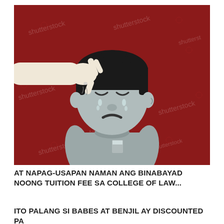[Figure (illustration): Illustration of a crying child with tears on their face, wearing a gray t-shirt, against a dark red background. A white adult hand reaches from the left toward the child's ear. The image has a Shutterstock watermark.]
AT NAPAG-USAPAN NAMAN ANG BINABAYAD NOONG TUITION FEE SA COLLEGE OF LAW...
ITO PALANG SI BABES AT BENJIL AY DISCOUNTED PA